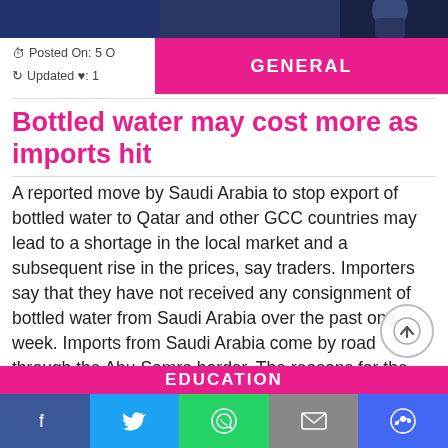[Figure (photo): Top banner photo, partially visible, dark blue tones with figures]
Posted On: 5 O... | Updated ...: 1...
GENERAL
Bottled water may cost more as imports hit
A reported move by Saudi Arabia to stop export of bottled water to Qatar and other GCC countries may lead to a shortage in the local market and a subsequent rise in the prices, say traders. Importers say that they have not received any consignment of bottled water from Saudi Arabia over the past one week. Imports from Saudi Arabia come by road through the Abu Samra border. The reasons for the sudden disruption in supply is not known but traders say that imports to all GCC countries have been
EDUCATION
f  [twitter]  [whatsapp]  [mail]  [messenger]